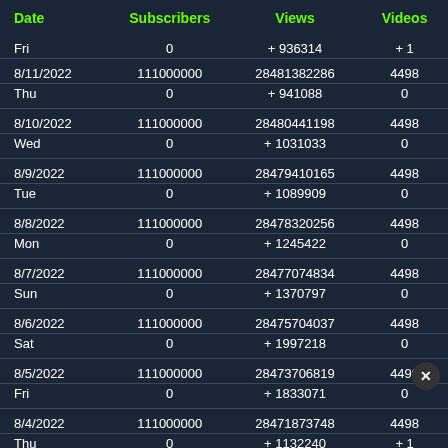| Date | Subscribers | Views | Videos |
| --- | --- | --- | --- |
| Fri | 0 | +936314 | +1 |
| 8/11/2022
Thu | 111000000
0 | 28481382286
+941088 | 4498
0 |
| 8/10/2022
Wed | 111000000
0 | 28480441198
+1031033 | 4498
0 |
| 8/9/2022
Tue | 111000000
0 | 28479410165
+1089909 | 4498
0 |
| 8/8/2022
Mon | 111000000
0 | 28478320256
+1245422 | 4498
0 |
| 8/7/2022
Sun | 111000000
0 | 28477074834
+1370797 | 4498
0 |
| 8/6/2022
Sat | 111000000
0 | 28475704037
+1997218 | 4498
0 |
| 8/5/2022
Fri | 111000000
0 | 28473706819
+1833071 | 4498
0 |
| 8/4/2022
Thu | 111000000
0 | 28471873748
+1132240 | 4498
+1 |